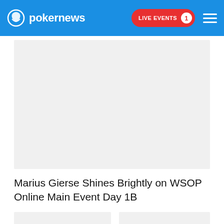pokernews — LIVE EVENTS 1
[Figure (photo): Large placeholder image area for article thumbnail]
Marius Gierse Shines Brightly on WSOP Online Main Event Day 1B
[Figure (photo): Small card image placeholder left]
[Figure (photo): Small card image placeholder right]